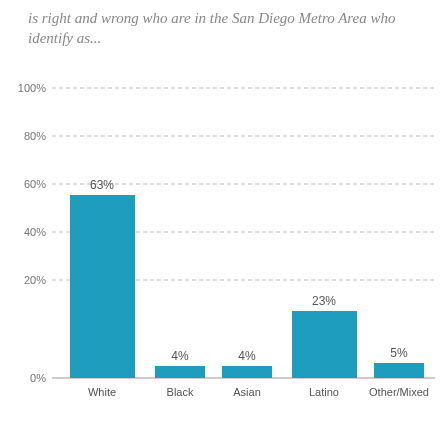...is right and wrong who are in the San Diego Metro Area who identify as...
[Figure (bar-chart): ]